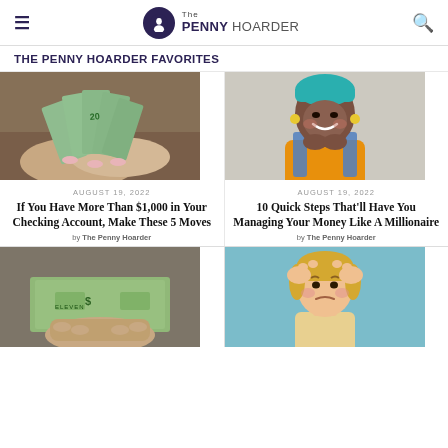The PENNY HOARDER
THE PENNY HOARDER FAVORITES
[Figure (photo): Hands holding a fan of US dollar bills]
AUGUST 19, 2022
If You Have More Than $1,000 in Your Checking Account, Make These 5 Moves
by The Penny Hoarder
[Figure (photo): Smiling young woman with teal hair and orange top]
AUGUST 19, 2022
10 Quick Steps That'll Have You Managing Your Money Like A Millionaire
by The Penny Hoarder
[Figure (photo): Hand holding folded US dollar bills]
[Figure (illustration): Cartoon person with hands on head looking stressed, light blue background]